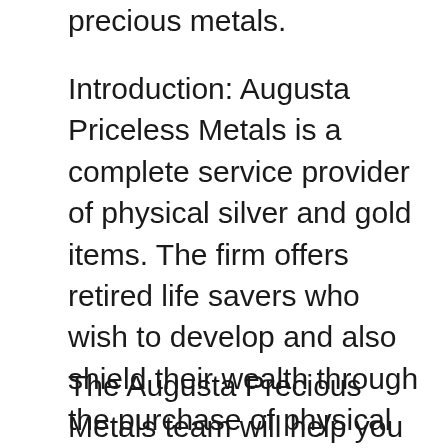precious metals.
Introduction: Augusta Priceless Metals is a complete service provider of physical silver and gold items. The firm offers retired life savers who wish to develop and also shield their wealth through the purchase of physical rare-earth elements. Augusta functions carefully with people to help them understand the array of portfolio benefits that can build up from having gold and silver, along with the range of Augusta products and services readily available to them.
The Augusta Precious Metals team will help you throughout the acquiring procedure, making it easy to roll over a part of an IRA or